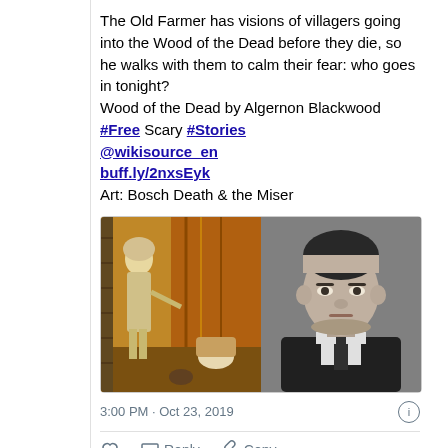The Old Farmer has visions of villagers going into the Wood of the Dead before they die, so he walks with them to calm their fear: who goes in tonight?
Wood of the Dead by Algernon Blackwood
#Free Scary #Stories @wikisource_en buff.ly/2nxsEyk
Art: Bosch Death & the Miser
[Figure (photo): Two images side by side: left is a painting by Bosch showing Death and the Miser, right is a black and white portrait photo of Algernon Blackwood.]
3:00 PM · Oct 23, 2019
Reply   Copy ...
Explore what's happening ...